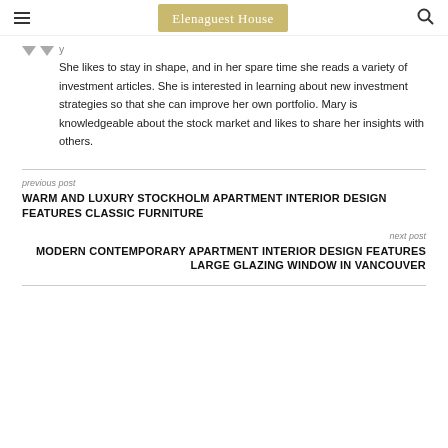Elenaguest House
She likes to stay in shape, and in her spare time she reads a variety of investment articles. She is interested in learning about new investment strategies so that she can improve her own portfolio. Mary is knowledgeable about the stock market and likes to share her insights with others.
previous post
WARM AND LUXURY STOCKHOLM APARTMENT INTERIOR DESIGN FEATURES CLASSIC FURNITURE
next post
MODERN CONTEMPORARY APARTMENT INTERIOR DESIGN FEATURES LARGE GLAZING WINDOW IN VANCOUVER